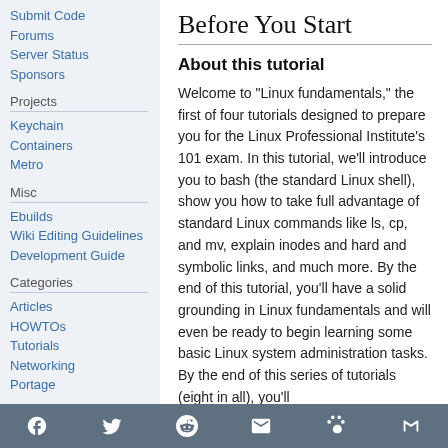Submit Code
Forums
Server Status
Sponsors
Projects
Keychain
Containers
Metro
Misc
Ebuilds
Wiki Editing Guidelines
Development Guide
Categories
Articles
HOWTOs
Tutorials
Networking
Portage
Before You Start
About this tutorial
Welcome to "Linux fundamentals," the first of four tutorials designed to prepare you for the Linux Professional Institute's 101 exam. In this tutorial, we'll introduce you to bash (the standard Linux shell), show you how to take full advantage of standard Linux commands like ls, cp, and mv, explain inodes and hard and symbolic links, and much more. By the end of this tutorial, you'll have a solid grounding in Linux fundamentals and will even be ready to begin learning some basic Linux system administration tasks. By the end of this series of tutorials (eight in all), you'll have the knowledge you need to...